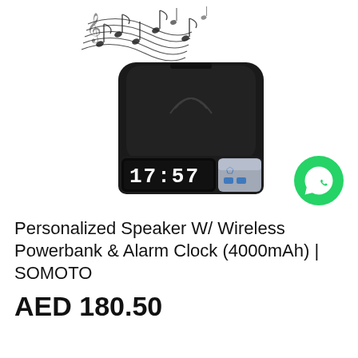[Figure (photo): Product photo of a black Bluetooth speaker with wireless charging pad on top and digital clock display showing 17:57 on the front. Musical notes float above the device. A green WhatsApp icon appears in the bottom-right of the image area.]
Personalized Speaker W/ Wireless Powerbank & Alarm Clock (4000mAh) | SOMOTO
AED 180.50